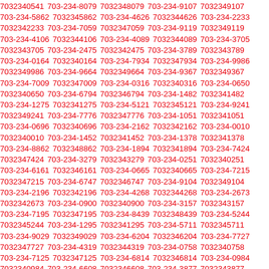7032340541 703-234-8079 7032348079 703-234-9107 7032349107 703-234-5862 7032345862 703-234-4626 7032344626 703-234-2233 7032342233 703-234-7059 7032347059 703-234-9119 7032349119 703-234-4106 7032344106 703-234-4089 7032344089 703-234-3705 7032343705 703-234-2475 7032342475 703-234-3789 7032343789 703-234-0164 7032340164 703-234-7934 7032347934 703-234-9986 7032349986 703-234-9664 7032349664 703-234-9367 7032349367 703-234-7009 7032347009 703-234-0316 7032340316 703-234-0650 7032340650 703-234-6794 7032346794 703-234-1482 7032341482 703-234-1275 7032341275 703-234-5121 7032345121 703-234-9241 7032349241 703-234-7776 7032347776 703-234-1051 7032341051 703-234-0696 7032340696 703-234-2162 7032342162 703-234-0010 7032340010 703-234-1452 7032341452 703-234-1378 7032341378 703-234-8862 7032348862 703-234-1894 7032341894 703-234-7424 7032347424 703-234-3279 7032343279 703-234-0251 7032340251 703-234-6161 7032346161 703-234-0665 7032340665 703-234-7215 7032347215 703-234-6747 7032346747 703-234-9104 7032349104 703-234-2196 7032342196 703-234-4268 7032344268 703-234-2673 7032342673 703-234-0900 7032340900 703-234-3157 7032343157 703-234-7195 7032347195 703-234-8439 7032348439 703-234-5244 7032345244 703-234-1295 7032341295 703-234-5711 7032345711 703-234-9029 7032349029 703-234-6204 7032346204 703-234-7727 7032347727 703-234-4319 7032344319 703-234-0758 7032340758 703-234-7125 7032347125 703-234-6814 7032346814 703-234-0984 7032340984 703-234-6608 7032346608 703-234-3877 7032343877